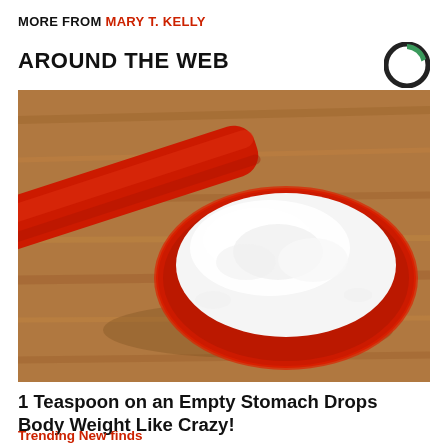MORE FROM MARY T. KELLY
AROUND THE WEB
[Figure (photo): Close-up photo of a red measuring spoon heaped with white powder, resting on a wooden surface]
1 Teaspoon on an Empty Stomach Drops Body Weight Like Crazy!
Trending New finds